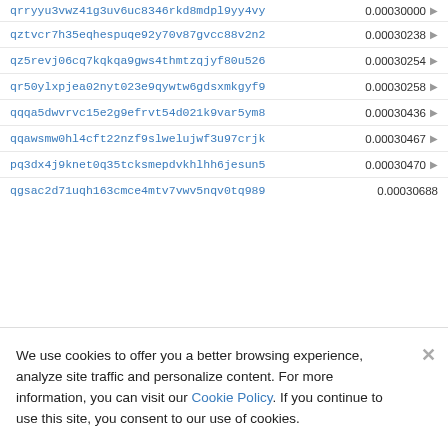qrryyu3vwz41g3uv6uc8346rkd8mdpl9yy4vy  0.00030000
qztvcr7h35eqhespuqe92y70v87gvcc88v2n2  0.00030238
qz5revj06cq7kqkqa9gws4thmtzqjyf80u526  0.00030254
qr50ylxpjea02nyt023e9qywtw6gdsxmkgyf9  0.00030258
qqqa5dwvrvc15e2g9efrvt54d021k9var5ym8  0.00030436
qqawsmw0hl4cft22nzf9slwelujwf3u97crjk  0.00030467
pq3dx4j9knet0q35tcksmepdvkhlhh6jesun5  0.00030470
qgsac2d71uqh163cmce4mtv7vwv5nqv0tq989  0.00030688
We use cookies to offer you a better browsing experience, analyze site traffic and personalize content. For more information, you can visit our Cookie Policy. If you continue to use this site, you consent to our use of cookies.